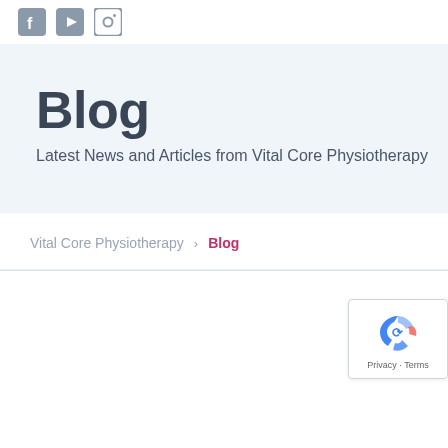[Figure (other): Social media icons: Facebook, YouTube, Instagram in grey]
Blog
Latest News and Articles from Vital Core Physiotherapy
Vital Core Physiotherapy > Blog
[Figure (logo): Google reCAPTCHA badge with Privacy and Terms text]